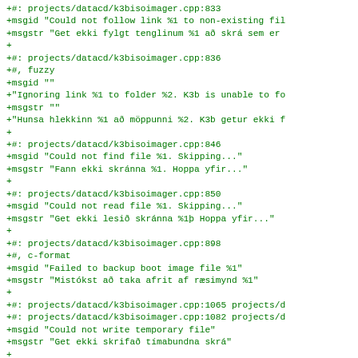+#: projects/datacd/k3bisoimager.cpp:833
+msgid "Could not follow link %1 to non-existing fil
+msgstr "Get ekki fylgt tenglinum %1 að skrá sem er
+
+#: projects/datacd/k3bisoimager.cpp:836
+#, fuzzy
+msgid ""
+"Ignoring link %1 to folder %2. K3b is unable to fo
+msgstr ""
+"Hunsa hlekkinn %1 að möppunni %2. K3b getur ekki f
+
+#: projects/datacd/k3bisoimager.cpp:846
+msgid "Could not find file %1. Skipping..."
+msgstr "Fann ekki skránna %1. Hoppa yfir..."
+
+#: projects/datacd/k3bisoimager.cpp:850
+msgid "Could not read file %1. Skipping..."
+msgstr "Get ekki lesið skránna %1þ Hoppa yfir..."
+
+#: projects/datacd/k3bisoimager.cpp:898
+#, c-format
+msgid "Failed to backup boot image file %1"
+msgstr "Mistókst að taka afrit af ræsimynd %1"
+
+#: projects/datacd/k3bisoimager.cpp:1065 projects/d
+#: projects/datacd/k3bisoimager.cpp:1082 projects/d
+msgid "Could not write temporary file"
+msgstr "Get ekki skrifað tímabundna skrá"
+
+#: projects/datacd/k3bisoimager.cpp:1069
+msgid "No files to be written."